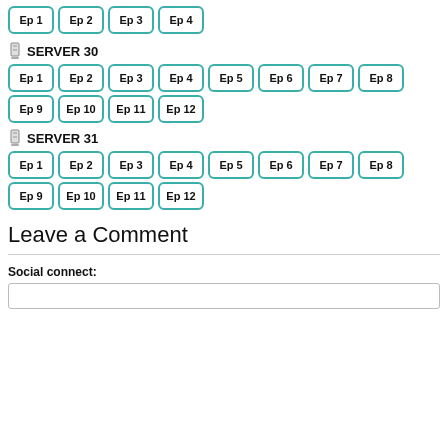[Figure (other): Row of episode buttons (partial, top of page): Ep 1, Ep 2, Ep 3, Ep 4]
SERVER 30
[Figure (other): Episode buttons for SERVER 30: Ep 1, Ep 2, Ep 3, Ep 4, Ep 5, Ep 6, Ep 7, Ep 8 (row 1); Ep 9, Ep 10, Ep 11, Ep 12 (row 2)]
SERVER 31
[Figure (other): Episode buttons for SERVER 31: Ep 1, Ep 2, Ep 3, Ep 4, Ep 5, Ep 6, Ep 7, Ep 8 (row 1); Ep 9, Ep 10, Ep 11, Ep 12 (row 2)]
Leave a Comment
Social connect:
[Figure (other): Empty text input box for social connect]